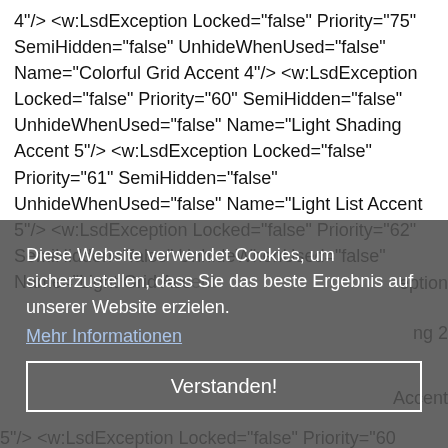4"/> <w:LsdException Locked="false" Priority="75" SemiHidden="false" UnhideWhenUsed="false" Name="Colorful Grid Accent 4"/> <w:LsdException Locked="false" Priority="60" SemiHidden="false" UnhideWhenUsed="false" Name="Light Shading Accent 5"/> <w:LsdException Locked="false" Priority="61" SemiHidden="false" UnhideWhenUsed="false" Name="Light List Accent 5"/> <w:LsdException Locked="false" Priority="62" SemiHidden="false" UnhideWhenUsed="false" Name="Light Grid Accent...
[Figure (screenshot): Cookie consent overlay in German: 'Diese Website verwendet Cookies, um sicherzustellen, dass Sie das beste Ergebnis auf unserer Website erzielen.' with a 'Mehr Informationen' link and a 'Verstanden!' button.]